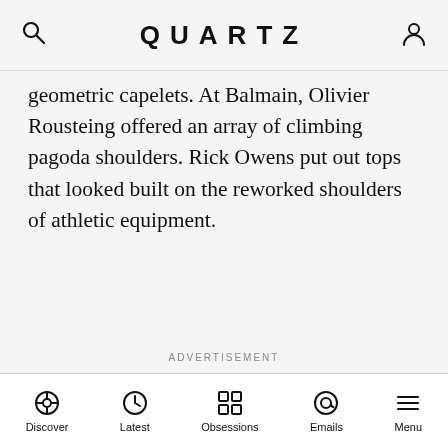QUARTZ
geometric capelets. At Balmain, Olivier Rousteing offered an array of climbing pagoda shoulders. Rick Owens put out tops that looked built on the reworked shoulders of athletic equipment.
ADVERTISEMENT
Discover | Latest | Obsessions | Emails | Menu